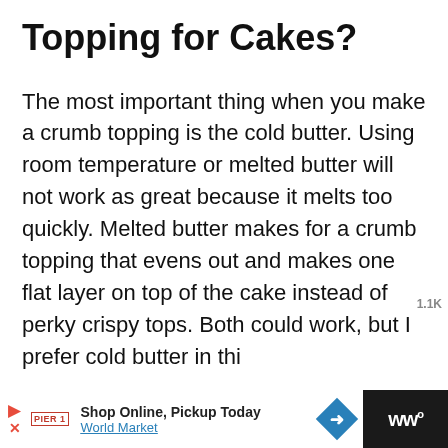Topping for Cakes?
The most important thing when you make a crumb topping is the cold butter. Using room temperature or melted butter will not work as great because it melts too quickly. Melted butter makes for a crumb topping that evens out and makes one flat layer on top of the cake instead of perky crispy tops. Both could work, but I prefer cold butter in thi
[Figure (screenshot): Website UI overlay elements: heart/like button with count 1.1K, share button, and a 'WHAT'S NEXT' card showing 'Crepes with Lemon Crea...']
[Figure (screenshot): Advertisement bar at bottom: Shop Online, Pickup Today - World Market ad with play/close icons, brand logo, navigation arrow diamond icon, and dark TV/streaming icon on right]